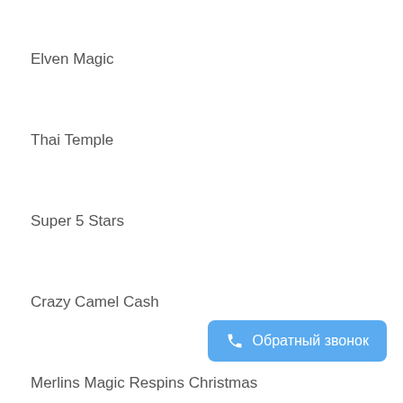Elven Magic
Thai Temple
Super 5 Stars
Crazy Camel Cash
Merlins Magic Respins Christmas
The...
Обратный звонок